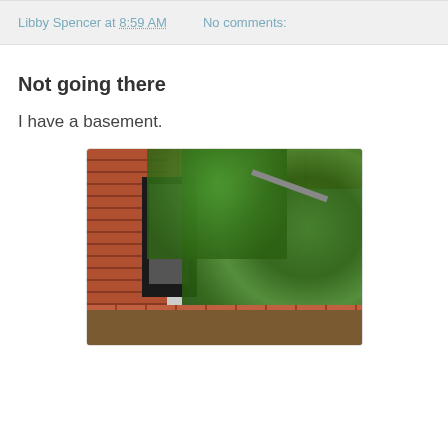Libby Spencer at 8:59 AM   No comments:
Not going there
I have a basement.
[Figure (photo): Photograph of an overgrown basement entrance with a dark metal door set into a brick wall, surrounded by dense green ivy and vines, with a staircase railing visible and dirt/mud at the base.]